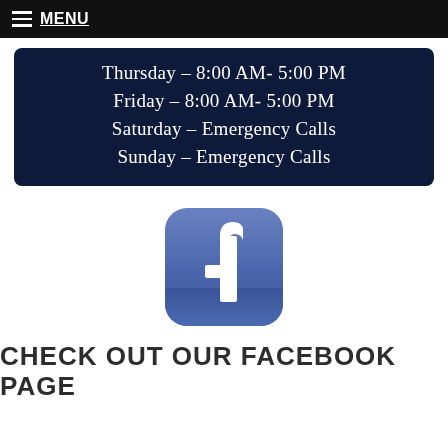≡ MENU
Thursday – 8:00 AM- 5:00 PM
Friday – 8:00 AM- 5:00 PM
Saturday – Emergency Calls
Sunday – Emergency Calls
[Figure (logo): Facebook logo icon — rounded square with gradient blue background and white 'f' letterform]
CHECK OUT OUR FACEBOOK PAGE